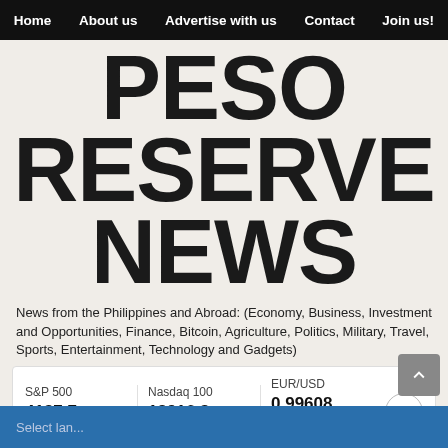Home   About us   Advertise with us   Contact   Join us!
PESO RESERVE NEWS
News from the Philippines and Abroad: (Economy, Business, Investment and Opportunities, Finance, Bitcoin, Agriculture, Politics, Military, Travel, Sports, Entertainment, Technology and Gadgets)
| S&P 500 | Nasdaq 100 | EUR/USD |
| --- | --- | --- |
| 4137.7 | 12916.8 | 0.99608 |
| +11.3 (+0.27%) | +44.0 (+0.34%) | −0.00072 (−0.07%) |
Ticker Tape by TradingView